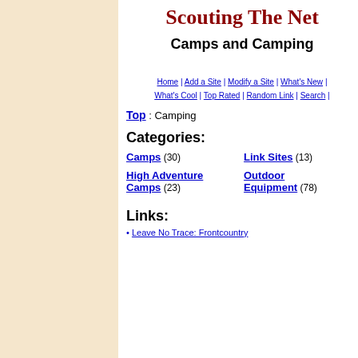Scouting The Net
Camps and Camping
Home | Add a Site | Modify a Site | What's New | What's Cool | Top Rated | Random Link | Search |
Top : Camping
Categories:
Camps (30)   Link Sites (13)   High Adventure Camps (23)   Outdoor Equipment (78)
Links:
Leave No Trace: Frontcountry